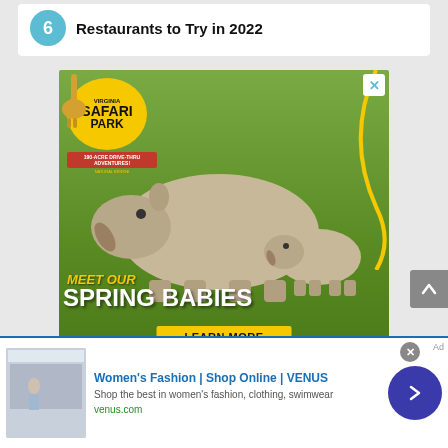Restaurants to Try in 2022
[Figure (photo): Virginia Safari Park advertisement featuring a rhinoceros mother and baby on green grass with text 'MEET OUR SPRING BABIES - LEARN MORE']
[Figure (photo): Venus women's fashion online shop advertisement with website venus.com]